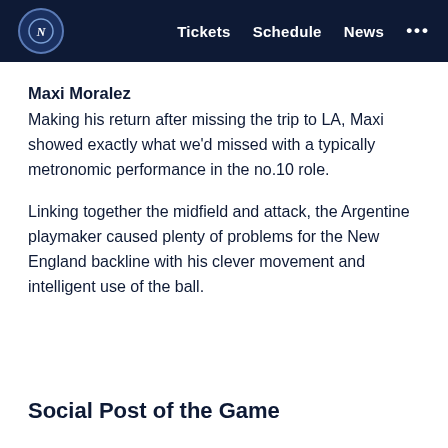NYCFC | Tickets  Schedule  News  ...
Maxi Moralez
Making his return after missing the trip to LA, Maxi showed exactly what we'd missed with a typically metronomic performance in the no.10 role.
Linking together the midfield and attack, the Argentine playmaker caused plenty of problems for the New England backline with his clever movement and intelligent use of the ball.
Social Post of the Game